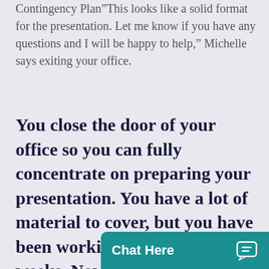Contingency Plan“This looks like a solid format for the presentation. Let me know if you have any questions and I will be happy to help,” Michelle says exiting your office.
You close the door of your office so you can fully concentrate on preparing your presentation. You have a lot of material to cover, but you have been working on this plan for weeks. Now it’s just a matter of formul…